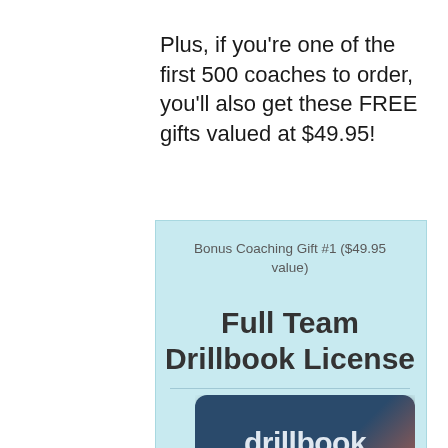Plus, if you're one of the first 500 coaches to order, you'll also get these FREE gifts valued at $49.95!
Bonus Coaching Gift #1 ($49.95 value)
Full Team Drillbook License
[Figure (photo): Drillbook team license card — dark blue and orange card with text 'drillbook' and 'team license']